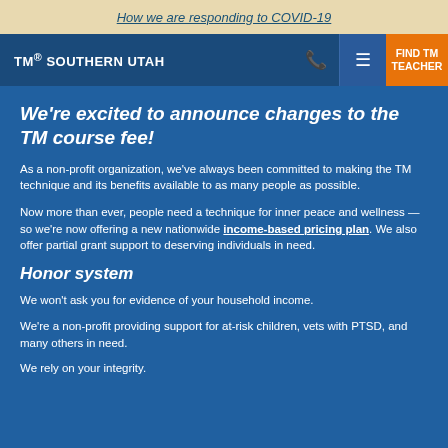How we are responding to COVID-19
TM® SOUTHERN UTAH — navigation bar with FIND TM TEACHER button
We're excited to announce changes to the TM course fee!
As a non-profit organization, we've always been committed to making the TM technique and its benefits available to as many people as possible.
Now more than ever, people need a technique for inner peace and wellness — so we're now offering a new nationwide income-based pricing plan. We also offer partial grant support to deserving individuals in need.
Honor system
We won't ask you for evidence of your household income.
We're a non-profit providing support for at-risk children, vets with PTSD, and many others in need.
We rely on your integrity.